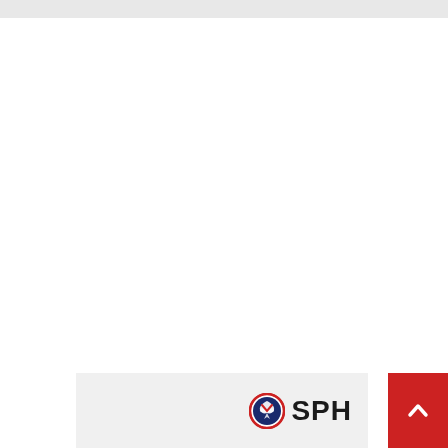[Figure (logo): SPH logo with circular eagle emblem and bold SPH text on a light gray banner at the bottom of the page]
[Figure (other): Red scroll-to-top button with white chevron/arrow icon on the right side]